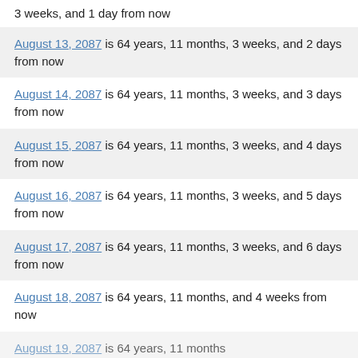3 weeks, and 1 day from now
August 13, 2087 is 64 years, 11 months, 3 weeks, and 2 days from now
August 14, 2087 is 64 years, 11 months, 3 weeks, and 3 days from now
August 15, 2087 is 64 years, 11 months, 3 weeks, and 4 days from now
August 16, 2087 is 64 years, 11 months, 3 weeks, and 5 days from now
August 17, 2087 is 64 years, 11 months, 3 weeks, and 6 days from now
August 18, 2087 is 64 years, 11 months, and 4 weeks from now
August 19, 2087 is 64 years, 11 months